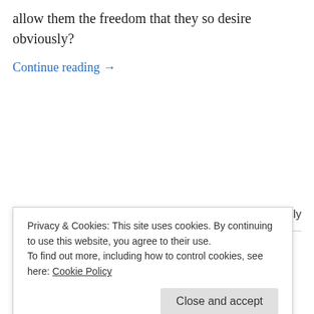allow them the freedom that they so desire obviously?
Continue reading →
March 6, 2012
1 Reply
Freedom of speech
Privacy & Cookies: This site uses cookies. By continuing to use this website, you agree to their use. To find out more, including how to control cookies, see here: Cookie Policy
This threat is rather insidious in that lies are being told by